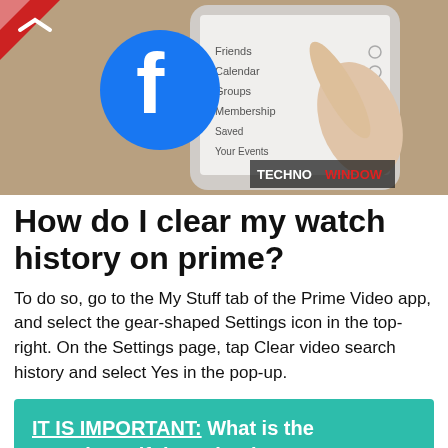[Figure (photo): Photo of a hand using a smartphone with a Facebook logo overlay and 'TECHNO WINDOW' watermark]
How do I clear my watch history on prime?
To do so, go to the My Stuff tab of the Prime Video app, and select the gear-shaped Settings icon in the top-right. On the Settings page, tap Clear video search history and select Yes in the pop-up.
IT IS IMPORTANT: What is the most beautiful caption in Facebook?
How do I remove a watchlist